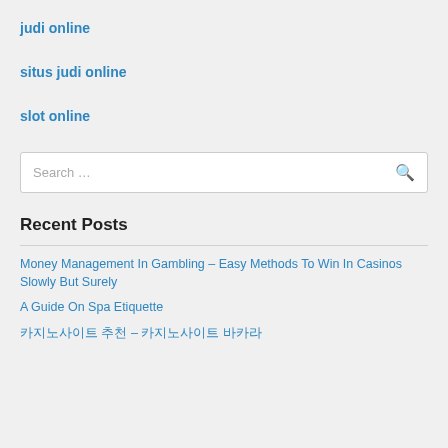judi online
situs judi online
slot online
Search …
Recent Posts
Money Management In Gambling – Easy Methods To Win In Casinos Slowly But Surely
A Guide On Spa Etiquette
카지노사이트 추천 – 카지노사이트 바카라